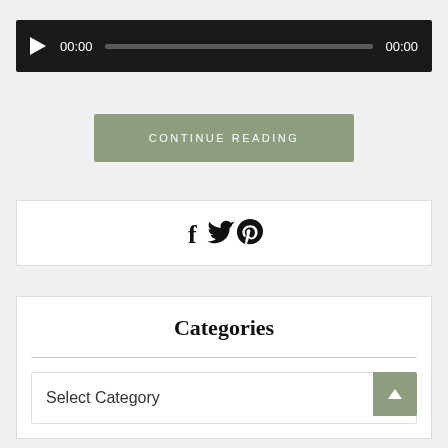[Figure (other): Audio player bar with play button, time display 00:00, progress bar, and end time 00:00]
CONTINUE READING
[Figure (other): Social sharing icons: Facebook (f), Twitter (bird), Pinterest (P)]
Categories
Select Category